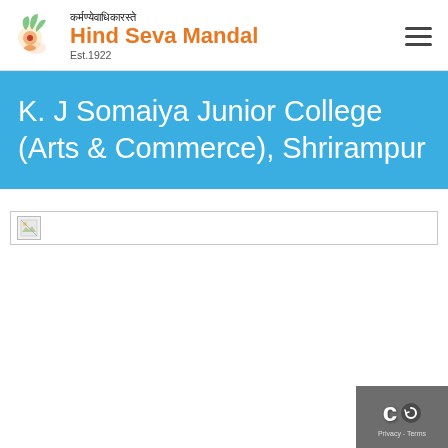कर्मण्येवाधिकारस्ते | Hind Seva Mandal | Est.1922
K. J Somaiya Junior College (Arts & Commerce), Shrirampur
[Figure (photo): Broken image placeholder with a small icon and a horizontal line border]
[Figure (other): reCAPTCHA widget overlay in bottom right corner showing the reCAPTCHA logo, a circular arrow button, and Privacy - Terms links]